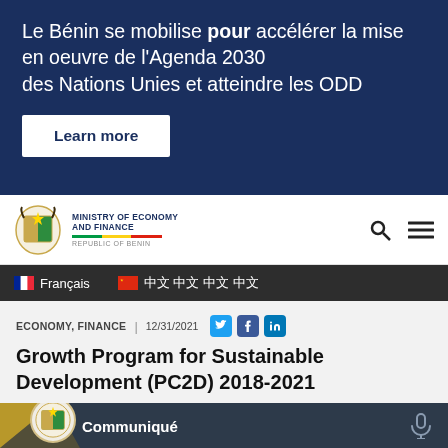Le Bénin se mobilise pour accélérer la mise en oeuvre de l'Agenda 2030 des Nations Unies et atteindre les ODD
Learn more
[Figure (logo): Ministry of Economy and Finance – Republic of Benin logo with coat of arms emblem and tricolor stripe]
Français
中文 (Chinese characters)
ECONOMY, FINANCE | 12/31/2021
Growth Program for Sustainable Development (PC2D) 2018-2021
[Figure (other): Communiqué strip with Benin coat of arms emblem and microphone icon on dark navy background with gold diagonal accents]